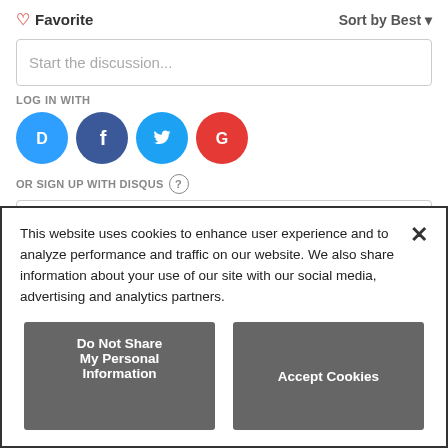♡ Favorite
Sort by Best ▾
Start the discussion...
LOG IN WITH
[Figure (illustration): Four social login icons: Disqus (blue circle with D), Facebook (dark blue circle with f), Twitter (light blue circle with bird), Google (red circle with G)]
OR SIGN UP WITH DISQUS ?
Name
This website uses cookies to enhance user experience and to analyze performance and traffic on our website. We also share information about your use of our site with our social media, advertising and analytics partners.
Do Not Share My Personal Information
Accept Cookies